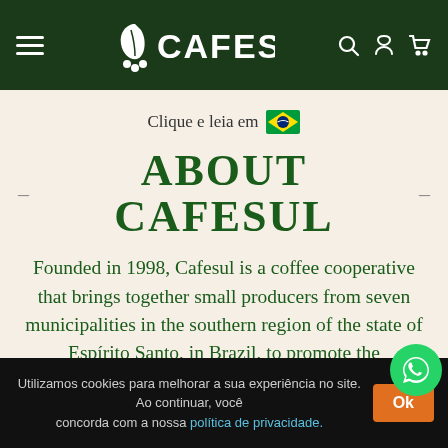CAFESUL navigation bar with hamburger menu, logo, search, account, and cart icons
Clique e leia em 🇧🇷
ABOUT CAFESUL
Founded in 1998, Cafesul is a coffee cooperative that brings together small producers from seven municipalities in the southern region of the state of Espírito Santo, in Brazil, to promote the
Utilizamos cookies para melhorar a sua experiência no site. Ao continuar, você concorda com a nossa política de privacidade. Ok